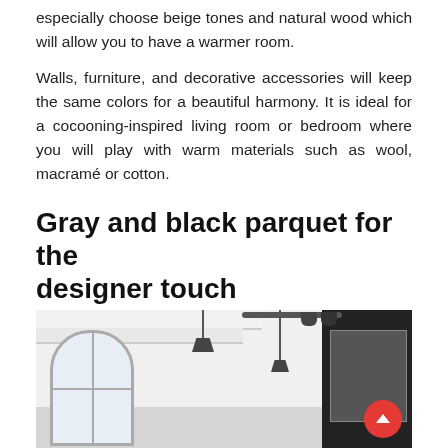especially choose beige tones and natural wood which will allow you to have a warmer room.
Walls, furniture, and decorative accessories will keep the same colors for a beautiful harmony. It is ideal for a cocooning-inspired living room or bedroom where you will play with warm materials such as wool, macramé or cotton.
Gray and black parquet for the designer touch
[Figure (photo): Interior room photo showing a modern white space with arched window, pendant lights hanging from ceiling with exposed beams, dark wall panel with oven on the right, and a red scroll-up button in the bottom right corner.]